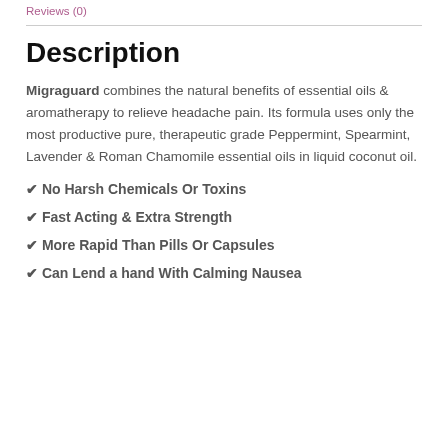Reviews (0)
Description
Migraguard combines the natural benefits of essential oils & aromatherapy to relieve headache pain. Its formula uses only the most productive pure, therapeutic grade Peppermint, Spearmint, Lavender & Roman Chamomile essential oils in liquid coconut oil.
✔ No Harsh Chemicals Or Toxins
✔ Fast Acting & Extra Strength
✔ More Rapid Than Pills Or Capsules
✔ Can Lend a hand With Calming Nausea